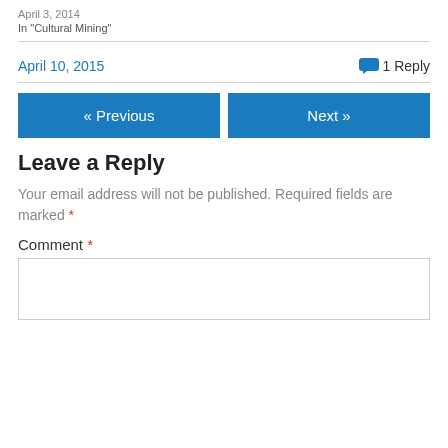April 3, 2014
In “Cultural Mining”
April 10, 2015
1 Reply
« Previous
Next »
Leave a Reply
Your email address will not be published. Required fields are marked *
Comment *